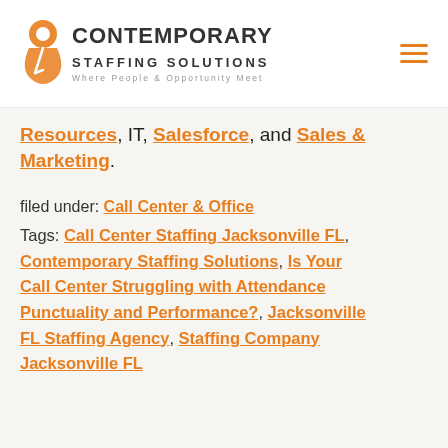Contemporary Staffing Solutions — Where People & Opportunity Meet
Resources, IT, Salesforce, and Sales & Marketing.
filed under: Call Center & Office
Tags: Call Center Staffing Jacksonville FL, Contemporary Staffing Solutions, Is Your Call Center Struggling with Attendance Punctuality and Performance?, Jacksonville FL Staffing Agency, Staffing Company Jacksonville FL